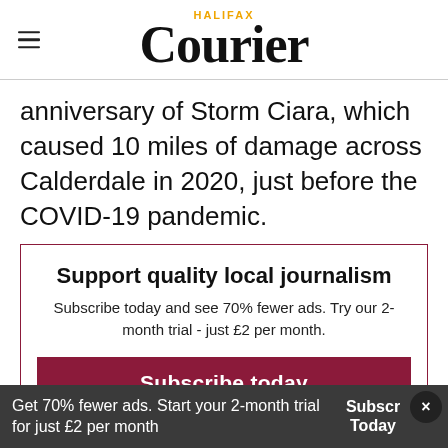HALIFAX Courier
anniversary of Storm Ciara, which caused 10 miles of damage across Calderdale in 2020, just before the COVID-19 pandemic.
Support quality local journalism
Subscribe today and see 70% fewer ads. Try our 2-month trial - just £2 per month.
Subscribe today
Already subscribed? Log in here
Get 70% fewer ads. Start your 2-month trial for just £2 per month
Subscr Today